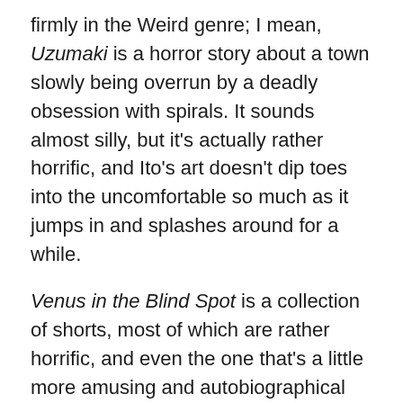firmly in the Weird genre; I mean, Uzumaki is a horror story about a town slowly being overrun by a deadly obsession with spirals. It sounds almost silly, but it's actually rather horrific, and Ito's art doesn't dip toes into the uncomfortable so much as it jumps in and splashes around for a while.
Venus in the Blind Spot is a collection of shorts, most of which are rather horrific, and even the one that's a little more amusing and autobiographical (Master Umezz and Me) still comes off as a bit creepy due to the level of obsession displayed. Some, such as The Human Chair are based on short stories written by others, and adapted to manga form by Ito. You have ones like The Licking Woman, which sound exactly like a horrible urban legend come to life, complete with a twist that sort of makes